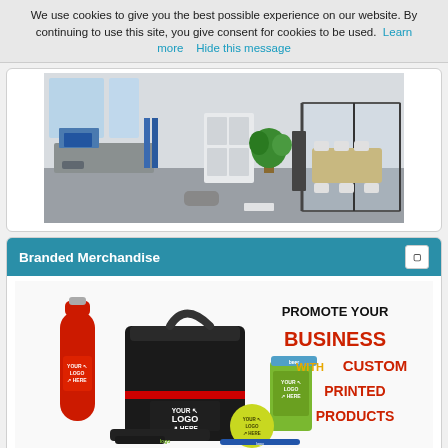We use cookies to give you the best possible experience on our website. By continuing to use this site, you give consent for cookies to be used. Learn more   Hide this message
[Figure (photo): Interior office space with workstations, blue dividers, white storage units, glass-walled meeting room with plants and chairs]
Branded Merchandise
[Figure (photo): Branded merchandise promotional image showing a red water bottle, black lunch bag, can cooler, tennis ball, and resistance bands with 'YOUR LOGO HERE' text. Right side says 'PROMOTE YOUR BUSINESS WITH CUSTOM PRINTED PRODUCTS' in bold colored text.]